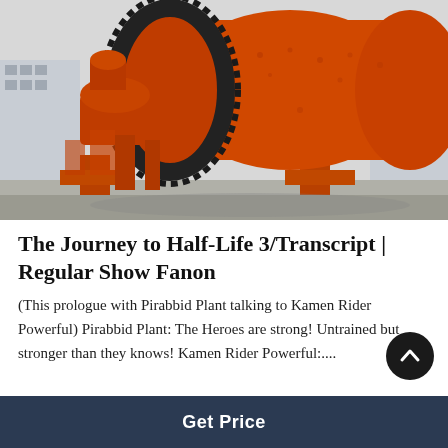[Figure (photo): Large orange industrial ball mill machine on display outdoors, with visible gears, cylindrical drum, and support frame. Buildings visible in background.]
The Journey to Half-Life 3/Transcript | Regular Show Fanon
(This prologue with Pirabbid Plant talking to Kamen Rider Powerful) Pirabbid Plant: The Heroes are strong! Untrained but stronger than they knows! Kamen Rider Powerful:....